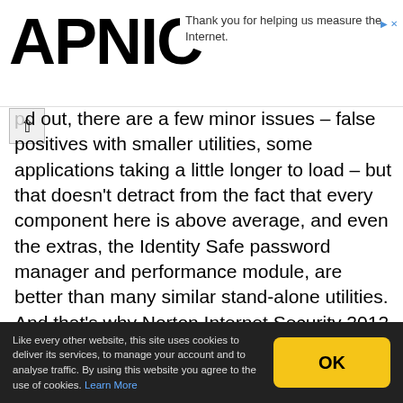APNIC
Thank you for helping us measure the Internet.
...d out, there are a few minor issues – false positives with smaller utilities, some applications taking a little longer to load – but that doesn't detract from the fact that every component here is above average, and even the extras, the Identity Safe password manager and performance module, are better than many similar stand-alone utilities. And that's why Norton Internet Security 2012 remains, for now, our pick of the security suite crop.
#2012 #antispam #antivirus #internet #norton
Like every other website, this site uses cookies to deliver its services, to manage your account and to analyse traffic. By using this website you agree to the use of cookies. Learn More